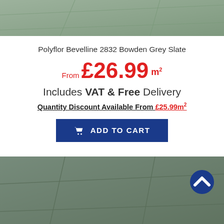[Figure (photo): Top portion: grey-green slate tile flooring texture]
Polyflor Bevelline 2832 Bowden Grey Slate
From £26.99 m²
Includes VAT & Free Delivery
Quantity Discount Available From £25.99m²
ADD TO CART
[Figure (photo): Bottom portion: grey-green slate tile flooring texture, darker shade]